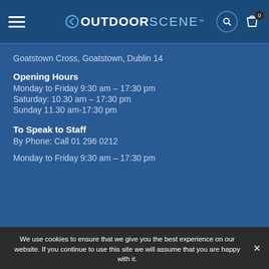OutdoorScene™ navigation bar with hamburger menu, logo, search icon, and bag icon with count 0
Goatstown Cross, Goatstown, Dublin 14
Opening Hours
Monday to Friday 9:30 am – 17:30 pm
Saturday: 10.30 am – 17:30 pm
Sunday 11.30 am-17:30 pm
To Speak to Staff
By Phone: Call 01 296 0212
Monday to Friday 9:30 am – 17:30 pm
We use cookies to ensure that we give you the best experience on our website. If you continue to use this site we will assume that you are happy with it.
OK
REFUSE CONSENT
PRIVACY POLICY